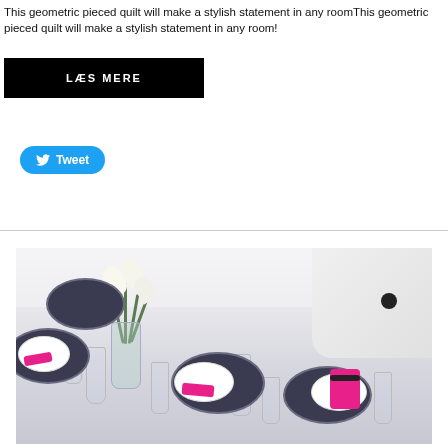This geometric pieced quilt will make a stylish statement in any roomThis geometric pieced quilt will make a stylish statement in any room!
[Figure (other): Black button with white text reading LÆS MERE (Danish for Read More)]
[Figure (other): Twitter Tweet button in blue with bird icon]
[Figure (photo): Elegantly set dining table with dark oval placemats, white plates, pink napkins, wine glasses, and a vase of white calla lilies. A person in white clothing with a black pendant necklace stands behind the table.]